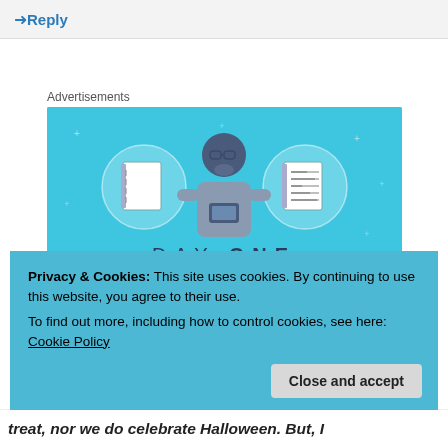→ Reply
Advertisements
[Figure (illustration): Day One journaling app advertisement. Blue background with illustration of a person holding a phone, flanked by two circular icons showing a blank notebook and a lined notebook. Text reads 'DAY ONE - The only journaling app you'll ever need.']
Privacy & Cookies: This site uses cookies. By continuing to use this website, you agree to their use.
To find out more, including how to control cookies, see here: Cookie Policy
Close and accept
treat, nor we do celebrate Halloween. But, I